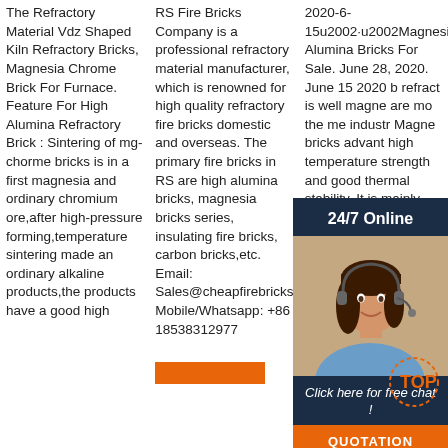The Refractory Material Vdz Shaped Kiln Refractory Bricks, Magnesia Chrome Brick For Furnace. Feature For High Alumina Refractory Brick : Sintering of mg-chorme bricks is in a first magnesia and ordinary chromium ore,after high-pressure forming,temperature sintering made an ordinary alkaline products,the products have a good high
RS Fire Bricks Company is a professional refractory material manufacturer, which is renowned for high quality refractory fire bricks domestic and overseas. The primary fire bricks in RS are high alumina bricks, magnesia bricks series, insulating fire bricks, carbon bricks,etc. Email: Sales@cheapfirebricks.com Mobile/Whatsapp: +86 18538312977
2020-6-15u2002·u2002Magnesia Alumina Bricks For Sale. June 28, 2020. June 15 2020 b refract is well magne are mo the me industr Magne bricks advant high temperature strength and good thermal stability. It is mainly used in steelmaking on the top of open hearth furnace.
[Figure (photo): 24/7 Online chat widget with a woman wearing a headset, dark blue background, and an orange QUOTATION button]
[Figure (other): Orange TOP badge/button at bottom right]